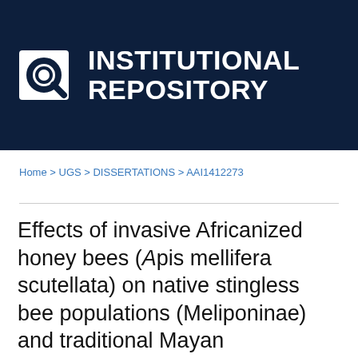[Figure (logo): Institutional Repository logo: dark navy banner with a circular magnifying glass icon and bold white text reading INSTITUTIONAL REPOSITORY]
Home > UGS > DISSERTATIONS > AAI1412273
Effects of invasive Africanized honey bees (Apis mellifera scutellata) on native stingless bee populations (Meliponinae) and traditional Mayan beekeeping in central Quintana Roo, Mexico